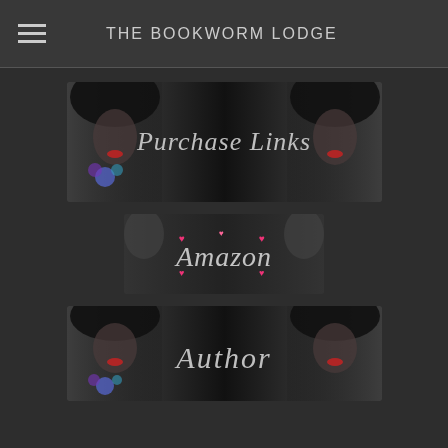THE BOOKWORM LODGE
[Figure (illustration): Banner image with two mirrored women with dark hair, text reading 'Purchase Links' in silver script over a dark background with a blue/purple flower decoration]
[Figure (illustration): Banner image with decorative text 'Amazon' in silver script surrounded by pink hearts on a dark background with women figures on sides]
[Figure (illustration): Banner image with two mirrored women with dark hair, text reading 'Author' in silver script over a dark background with a blue/purple flower decoration]